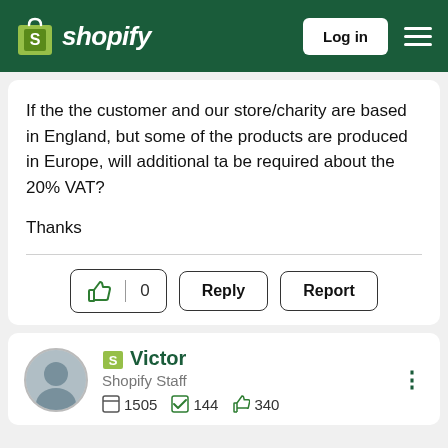[Figure (screenshot): Shopify navigation header with logo, Log in button, and hamburger menu on dark green background]
If the the customer and our store/charity are based in England, but some of the products are produced in Europe, will additional ta be required about the 20% VAT?

Thanks
0 Reply Report
Victor
Shopify Staff
1505  144  340